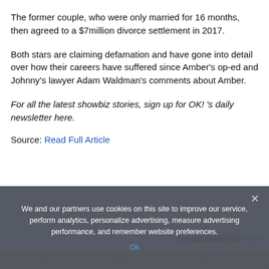The former couple, who were only married for 16 months, then agreed to a $7million divorce settlement in 2017.
Both stars are claiming defamation and have gone into detail over how their careers have suffered since Amber's op-ed and Johnny's lawyer Adam Waldman's comments about Amber.
For all the latest showbiz stories, sign up for OK! 's daily newsletter here.
Source: Read Full Article
[Figure (logo): Taboola Feed logo]
[Figure (photo): Yellow background with circular dot pattern]
We and our partners use cookies on this site to improve our service, perform analytics, personalize advertising, measure advertising performance, and remember website preferences.